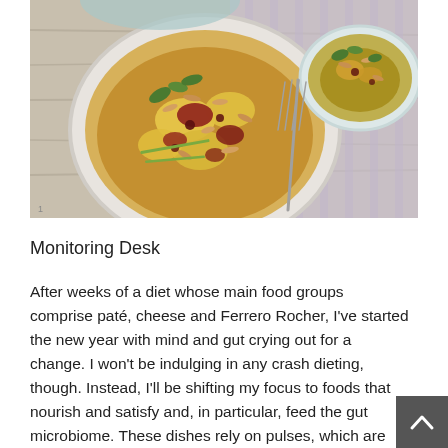[Figure (photo): Overhead view of two plates of food — a large white plate with curried cauliflower topped with toasted almonds, fresh herbs, and deep red chilli oil, and a smaller scalloped bowl with a similar dish. A fork rests between them on a lavender striped cloth napkin, all on a pale wood surface.]
Monitoring Desk
After weeks of a diet whose main food groups comprise paté, cheese and Ferrero Rocher, I've started the new year with mind and gut crying out for a change. I won't be indulging in any crash dieting, though. Instead, I'll be shifting my focus to foods that nourish and satisfy and, in particular, feed the gut microbiome. These dishes rely on pulses, which are naturally full of fibre, to provide